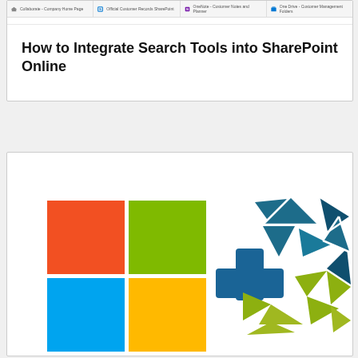[Figure (screenshot): Browser navigation bar with four tabs: Collaborate - Company Home Page, Official Customer Records SharePoint, OneNote - Customer Notes and Planner, One Drive - Customer Management Folders]
How to Integrate Search Tools into SharePoint Online
[Figure (illustration): Microsoft logo (four colored squares: red, green, blue, yellow) plus sign and a geometric icosahedron-like logo in teal and olive/yellow-green colors, suggesting integration of Microsoft SharePoint with a search tool]